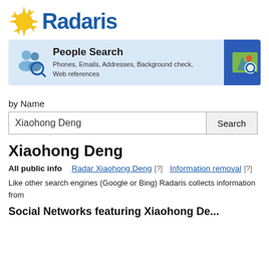[Figure (logo): Radaris logo with yellow starburst and blue bold text 'Radaris']
[Figure (infographic): Navigation bar with People Search section (blue background panel, people icon, title and subtitle) and My web section (blue background, map icon, partial text)]
by Name
Xiaohong Deng
Xiaohong Deng
All public info   Radar Xiaohong Deng [?]   Information removal [?]
Like other search engines (Google or Bing) Radaris collects information from
Social Networks featuring Xiaohong De...